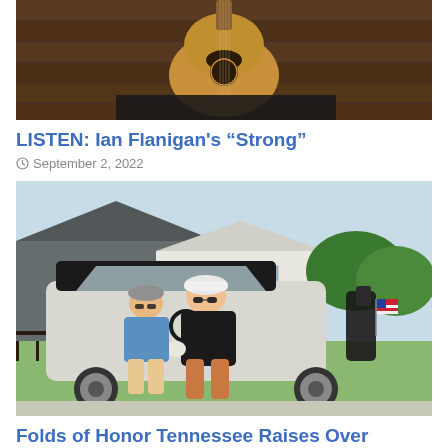[Figure (photo): Photo of a person holding an acoustic guitar, close-up shot showing the guitar body and wooden background]
LISTEN: Ian Flanigan's “Strong”
September 2, 2022
[Figure (photo): Two men riding in a white golf cart on a sunny day, one wearing a black shirt and white cap, another in a blue shirt and grey cap, with a large house and green landscape in the background]
Folds of Honor Tennessee Raises Over $324,000
September 2, 2022